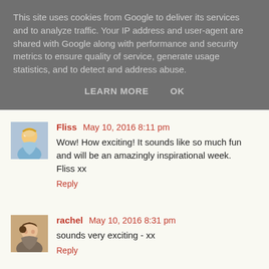This site uses cookies from Google to deliver its services and to analyze traffic. Your IP address and user-agent are shared with Google along with performance and security metrics to ensure quality of service, generate usage statistics, and to detect and address abuse.
LEARN MORE    OK
Fliss  May 10, 2016 8:11 pm
Wow! How exciting! It sounds like so much fun and will be an amazingly inspirational week.
Fliss xx
Reply
rachel  May 10, 2016 8:31 pm
sounds very exciting - xx
Reply